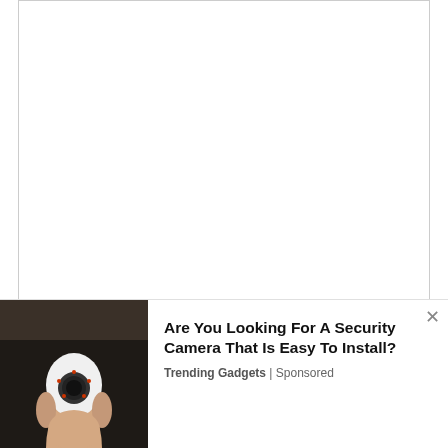Common for short (fewer than ten pages) informal reports distributed within an organization. The memo format of “Date,”
[Figure (photo): Advertisement overlay showing a hand holding a light-bulb shaped security camera against a dark background, with ad text: 'Are You Looking For A Security Camera That Is Easy To Install?' from Trending Gadgets | Sponsored, with a close (x) button.]